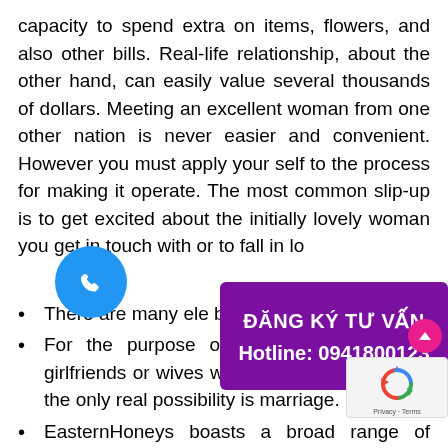capacity to spend extra on items, flowers, and also other bills. Real-life relationship, about the other hand, can easily value several thousands of dollars. Meeting an excellent woman from one other nation is never easier and convenient. However you must apply your self to the process for making it operate. The most common slip-up is to get excited about the initially lovely woman you get in touch with or to fall in lo...
[Figure (infographic): Purple/violet banner overlay with bold white text reading 'ĐĂNG KÝ TƯ VẤN' and 'Hotline: 0941800123']
There are many ele... become mail order bri...
For the purpose of sizzling and younger girlfriends or wives with out proper schooling, the only real possibility is marriage.
EasternHoneys boasts a broad range of communication co...s and features that facilitate the reference to O...ladies web based.
The internet dating website can not assure t... ladies you really want will adhere to marry you.
If you want to buy a wife on the web right here is a list